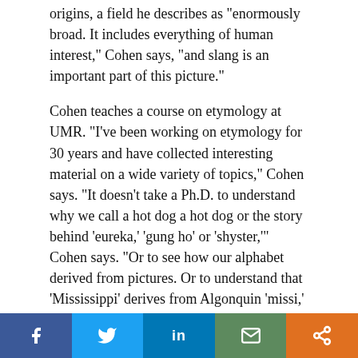origins, a field he describes as "enormously broad. It includes everything of human interest," Cohen says, "and slang is an important part of this picture."
Cohen teaches a course on etymology at UMR. "I've been working on etymology for 30 years and have collected interesting material on a wide variety of topics," Cohen says. "It doesn't take a Ph.D. to understand why we call a hot dog a hot dog or the story behind 'eureka,' 'gung ho' or 'shyster,'" Cohen says. "Or to see how our alphabet derived from pictures. Or to understand that 'Mississippi' derives from Algonquin 'missi,' meaning big, and 'sipi,' meaning river. Or that 'Missouri' really means merely 'canoe' and not 'river of the big canoes.'
Cohen aims for his dictionary to be scholarly and hopes it winds up in various libraries so the public will have ready access to it. He printed the copies himself and is offering 100 for sale. Proceeds from the sale will be donated to a
[Figure (infographic): Social media share bar with Facebook, Twitter, LinkedIn, email, and more buttons]